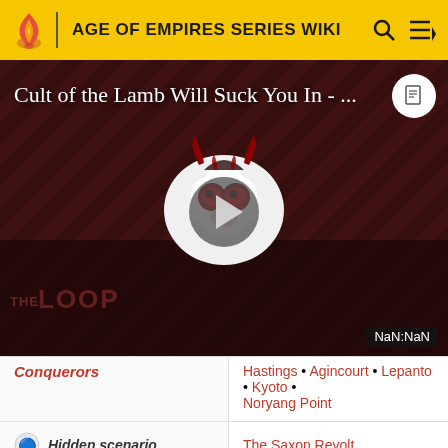AGE OF EMPIRES SERIES WIKI
[Figure (screenshot): Video thumbnail for 'Cult of the Lamb Will Suck You In - ...' with a cartoon demon lamb character, play button, THE LOOP watermark, and NaN:NaN timestamp badge]
| Conquerors | Hastings • Agincourt • Lepanto • Kyoto • Noryang Point |
| Hidden scenario | The Saxon Revolt |
| The Forgotten |  |